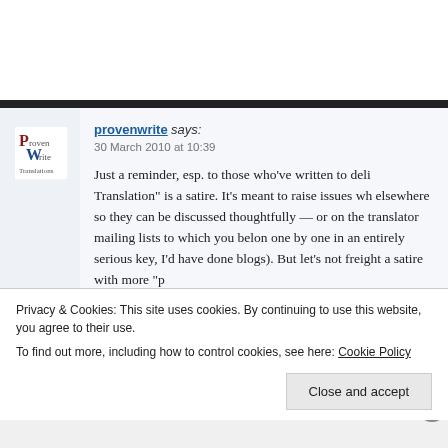provenwrite says:
30 March 2010 at 10:39

Just a reminder, esp. to those who’ve written to deli Translation” is a satire. It’s meant to raise issues wh elsewhere so they can be discussed thoughtfully — or on the translator mailing lists to which you belon one by one in an entirely serious key, I’d have done blogs). But let’s not freight a satire with more “p lit
Privacy & Cookies: This site uses cookies. By continuing to use this website, you agree to their use.
To find out more, including how to control cookies, see here: Cookie Policy
Close and accept